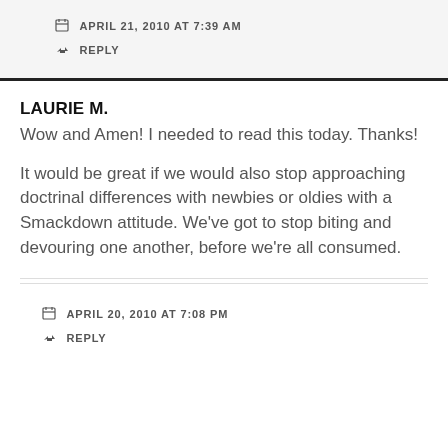APRIL 21, 2010 AT 7:39 AM
REPLY
LAURIE M.
Wow and Amen! I needed to read this today. Thanks!
It would be great if we would also stop approaching doctrinal differences with newbies or oldies with a Smackdown attitude. We've got to stop biting and devouring one another, before we're all consumed.
APRIL 20, 2010 AT 7:08 PM
REPLY